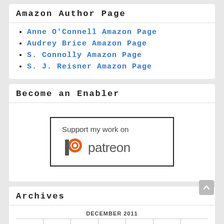Amazon Author Page
Anne O'Connell Amazon Page
Audrey Brice Amazon Page
S. Connolly Amazon Page
S. J. Reisner Amazon Page
Become an Enabler
[Figure (logo): Patreon support button with orange P logo and text 'Support my work on patreon']
Archives
DECEMBER 2011